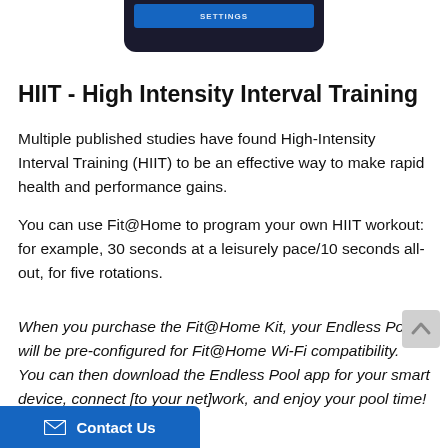[Figure (screenshot): Bottom portion of a phone/tablet screen showing a blue button strip on a dark background]
HIIT - High Intensity Interval Training
Multiple published studies have found High-Intensity Interval Training (HIIT) to be an effective way to make rapid health and performance gains.
You can use Fit@Home to program your own HIIT workout: for example, 30 seconds at a leisurely pace/10 seconds all-out, for five rotations.
When you purchase the Fit@Home Kit, your Endless Pool will be pre-configured for Fit@Home Wi-Fi compatibility. You can then download the Endless Pool app for your smart device, connect [to your] network, and enjoy your pool time!